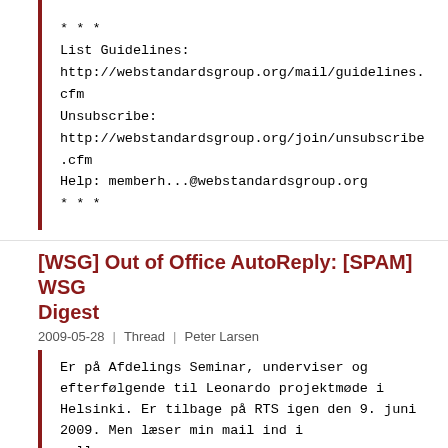* * *
List Guidelines:
http://webstandardsgroup.org/mail/guidelines.cfm
Unsubscribe:
http://webstandardsgroup.org/join/unsubscribe.cfm
Help: memberh...@webstandardsgroup.org
* * *
[WSG] Out of Office AutoReply: [SPAM] WSG Digest
2009-05-28 | Thread | Peter Larsen
Er på Afdelings Seminar, underviser og efterfølgende til Leonardo projektmøde i Helsinki. Er tilbage på RTS igen den 9. juni 2009. Men læser min mail ind i mellem

Meetings, seminar and teaching takes time -